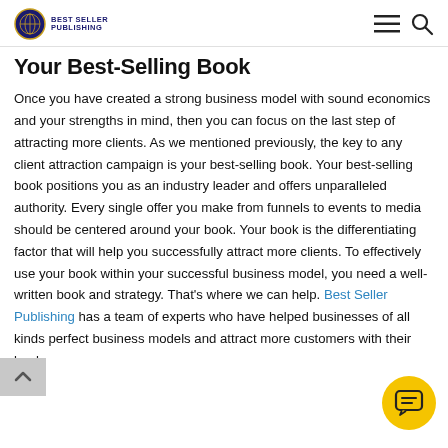Best Seller Publishing
Your Best-Selling Book
Once you have created a strong business model with sound economics and your strengths in mind, then you can focus on the last step of attracting more clients. As we mentioned previously, the key to any client attraction campaign is your best-selling book. Your best-selling book positions you as an industry leader and offers unparalleled authority. Every single offer you make from funnels to events to media should be centered around your book. Your book is the differentiating factor that will help you successfully attract more clients. To effectively use your book within your successful business model, you need a well-written book and strategy. That's where we can help. Best Seller Publishing has a team of experts who have helped businesses of all kinds perfect business models and attract more customers with their book.